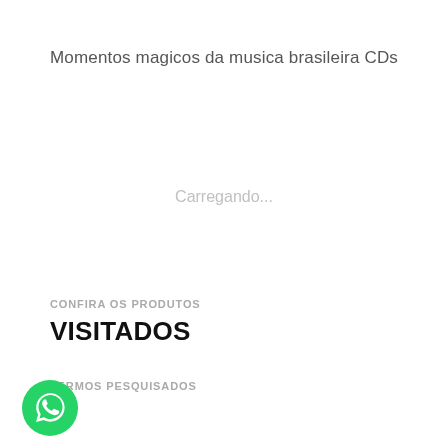Momentos magicos da musica brasileira CDs
Carregando...
CONFIRA OS PRODUTOS
VISITADOS
TERMOS PESQUISADOS
[Figure (logo): WhatsApp green circular button with phone handset icon in white]